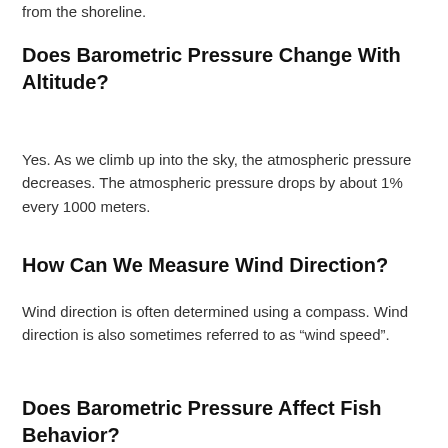from the shoreline.
Does Barometric Pressure Change With Altitude?
Yes. As we climb up into the sky, the atmospheric pressure decreases. The atmospheric pressure drops by about 1% every 1000 meters.
How Can We Measure Wind Direction?
Wind direction is often determined using a compass. Wind direction is also sometimes referred to as “wind speed”.
Does Barometric Pressure Affect Fish Behavior?